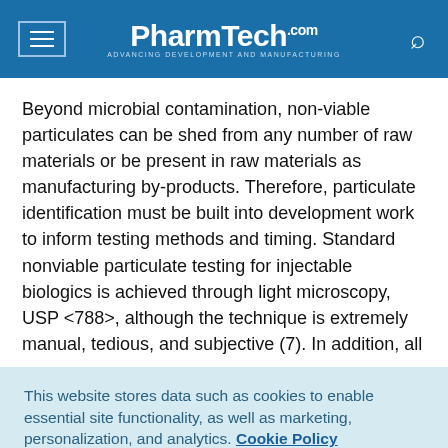PharmTech.com — Advancing Development and Manufacturing
Beyond microbial contamination, non-viable particulates can be shed from any number of raw materials or be present in raw materials as manufacturing by-products. Therefore, particulate identification must be built into development work to inform testing methods and timing. Standard nonviable particulate testing for injectable biologics is achieved through light microscopy, USP <788>, although the technique is extremely manual, tedious, and subjective (7). In addition, all
This website stores data such as cookies to enable essential site functionality, as well as marketing, personalization, and analytics. Cookie Policy
Accept
Deny